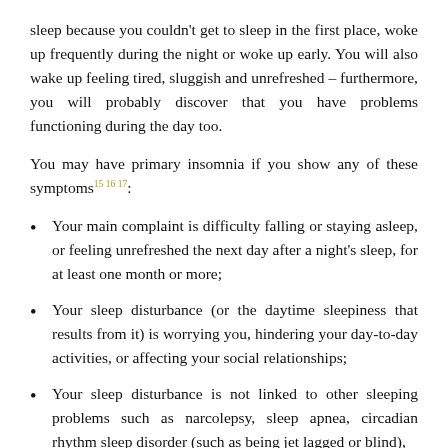sleep because you couldn't get to sleep in the first place, woke up frequently during the night or woke up early. You will also wake up feeling tired, sluggish and unrefreshed – furthermore, you will probably discover that you have problems functioning during the day too.
You may have primary insomnia if you show any of these symptoms15 16 17:
Your main complaint is difficulty falling or staying asleep, or feeling unrefreshed the next day after a night's sleep, for at least one month or more;
Your sleep disturbance (or the daytime sleepiness that results from it) is worrying you, hindering your day-to-day activities, or affecting your social relationships;
Your sleep disturbance is not linked to other sleeping problems such as narcolepsy, sleep apnea, circadian rhythm sleep disorder (such as being jet lagged or blind),